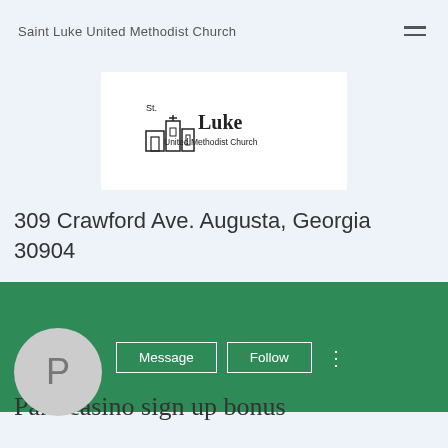Saint Luke United Methodist Church
[Figure (logo): St. Luke United Methodist Church logo with church building icon and text]
309 Crawford Ave. Augusta, Georgia 30904
[Figure (screenshot): Green profile banner with Message and Follow buttons and profile circle showing letter P]
Parx casino sign up bonus